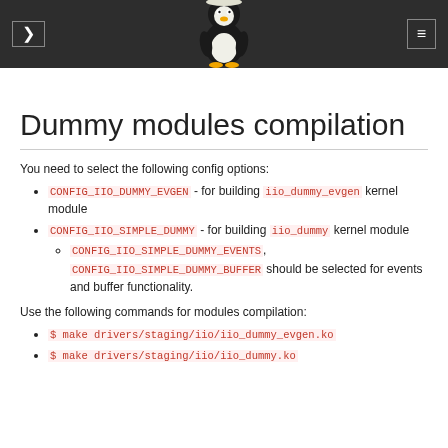Dummy modules compilation
Dummy modules compilation
You need to select the following config options:
CONFIG_IIO_DUMMY_EVGEN - for building iio_dummy_evgen kernel module
CONFIG_IIO_SIMPLE_DUMMY - for building iio_dummy kernel module
CONFIG_IIO_SIMPLE_DUMMY_EVENTS, CONFIG_IIO_SIMPLE_DUMMY_BUFFER should be selected for events and buffer functionality.
Use the following commands for modules compilation:
$ make drivers/staging/iio/iio_dummy_evgen.ko
$ make drivers/staging/iio/iio_dummy.ko